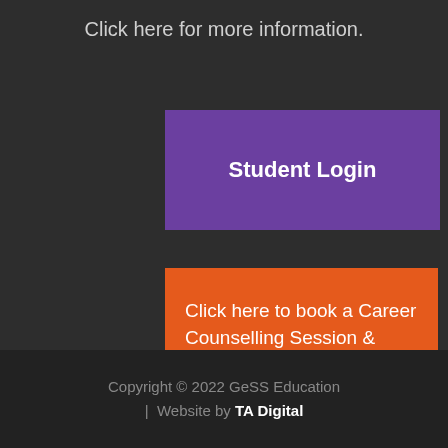Click here for more information.
Student Login
Click here to book a Career Counselling Session & Campus Tour
Copyright © 2022 GeSS Education | Website by TA Digital